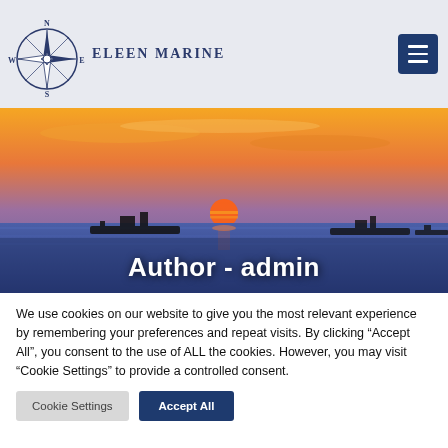Eleen Marine
[Figure (illustration): Sunset over ocean with cargo ships silhouetted, orange and blue sky gradient. Text overlay reads 'Author - admin']
Author - admin
We use cookies on our website to give you the most relevant experience by remembering your preferences and repeat visits. By clicking “Accept All”, you consent to the use of ALL the cookies. However, you may visit “Cookie Settings” to provide a controlled consent.
Cookie Settings | Accept All